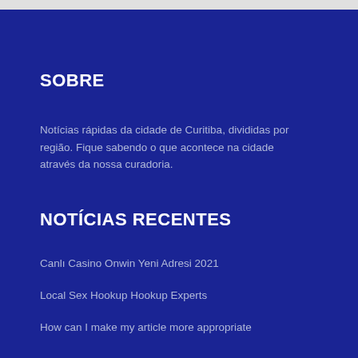SOBRE
Notícias rápidas da cidade de Curitiba, divididas por região. Fique sabendo o que acontece na cidade através da nossa curadoria.
NOTÍCIAS RECENTES
Canlı Casino Onwin Yeni Adresi 2021
Local Sex Hookup Hookup Experts
How can I make my article more appropriate